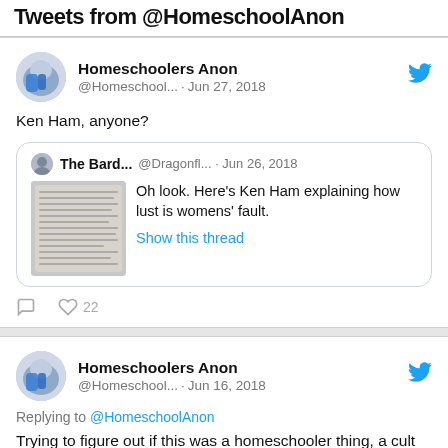Tweets from @HomeschoolAnon
[Figure (screenshot): Tweet by Homeschoolers Anon (@Homeschool...) on Jun 27, 2018 saying 'Ken Ham, anyone?' with a quoted tweet from The Bard... (@Dragonfl...) on Jun 26, 2018 saying 'Oh look. Here's Ken Ham explaining how lust is womens' fault. Show this thread'. Likes: 22.]
[Figure (screenshot): Tweet by Homeschoolers Anon (@Homeschool...) on Jun 16, 2018 replying to @HomeschoolAnon: 'Trying to figure out if this was a homeschooler thing, a cult thing, a Gothard thing, or just a my parents thing.']